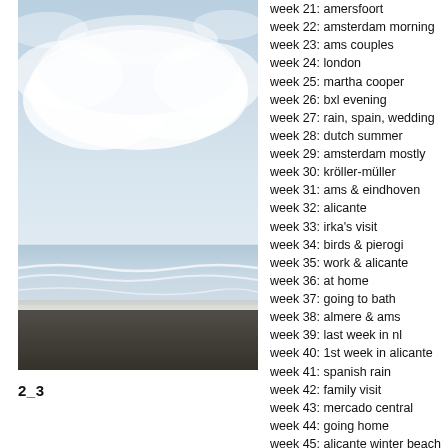[Figure (photo): A beach scene with a dark sand/pebble shore in the foreground, gentle waves lapping the beach, and a large cloudy sky with pale blue tones filling most of the frame.]
2_3
week 21: amersfoort
week 22: amsterdam morning
week 23: ams couples
week 24: london
week 25: martha cooper
week 26: bxl evening
week 27: rain, spain, wedding
week 28: dutch summer
week 29: amsterdam mostly
week 30: kröller-müller
week 31: ams & eindhoven
week 32: alicante
week 33: irka's visit
week 34: birds & pierogi
week 35: work & alicante
week 36: at home
week 37: going to bath
week 38: almere & ams
week 39: last week in nl
week 40: 1st week in alicante
week 41: spanish rain
week 42: family visit
week 43: mercado central
week 44: going home
week 45: alicante winter beach